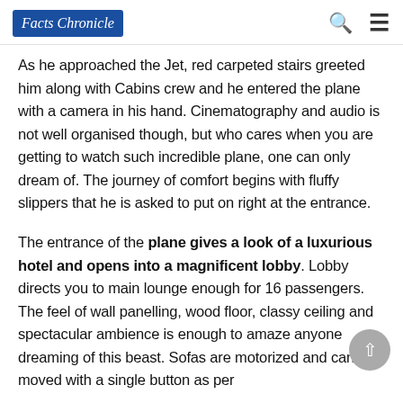Facts Chronicle
As he approached the Jet, red carpeted stairs greeted him along with Cabins crew and he entered the plane with a camera in his hand. Cinematography and audio is not well organised though, but who cares when you are getting to watch such incredible plane, one can only dream of. The journey of comfort begins with fluffy slippers that he is asked to put on right at the entrance.
The entrance of the plane gives a look of a luxurious hotel and opens into a magnificent lobby. Lobby directs you to main lounge enough for 16 passengers. The feel of wall panelling, wood floor, classy ceiling and spectacular ambience is enough to amaze anyone dreaming of this beast. Sofas are motorized and can be moved with a single button as per